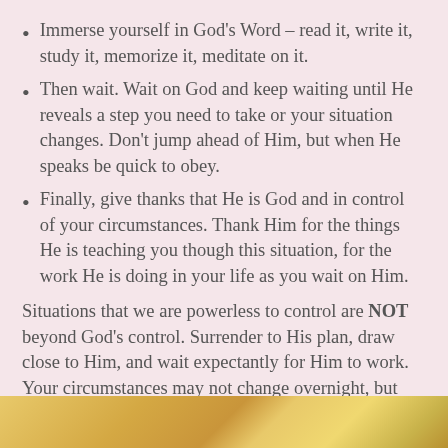Immerse yourself in God's Word – read it, write it, study it, memorize it, meditate on it.
Then wait. Wait on God and keep waiting until He reveals a step you need to take or your situation changes. Don't jump ahead of Him, but when He speaks be quick to obey.
Finally, give thanks that He is God and in control of your circumstances. Thank Him for the things He is teaching you though this situation, for the work He is doing in your life as you wait on Him.
Situations that we are powerless to control are NOT beyond God's control. Surrender to His plan, draw close to Him, and wait expectantly for Him to work. Your circumstances may not change overnight, but you will begin to change.
[Figure (photo): Partial image of a golden/wheat-colored textured surface visible at the bottom of the page]